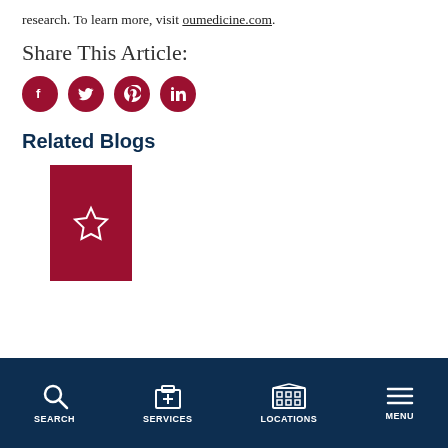research. To learn more, visit oumedicine.com.
Share This Article:
[Figure (infographic): Four social media share buttons (Facebook, Twitter, Pinterest, LinkedIn) as dark red circles with white icons]
Related Blogs
[Figure (illustration): A dark red rectangle card with a white outlined star icon, representing a blog placeholder image]
SEARCH | SERVICES | LOCATIONS | MENU navigation bar with icons on dark navy background